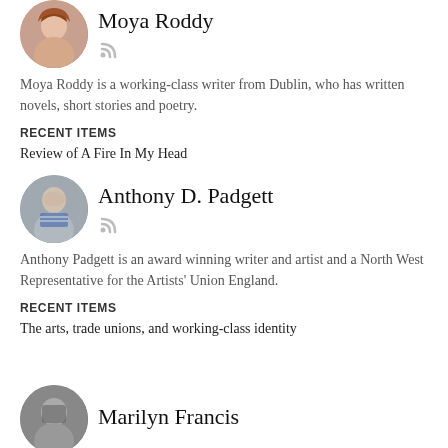Moya Roddy
Moya Roddy is a working-class writer from Dublin, who has written novels, short stories and poetry.
RECENT ITEMS
Review of A Fire In My Head
Anthony D. Padgett
Anthony Padgett is an award winning writer and artist and a North West Representative for the Artists' Union England.
RECENT ITEMS
The arts, trade unions, and working-class identity
Marilyn Francis